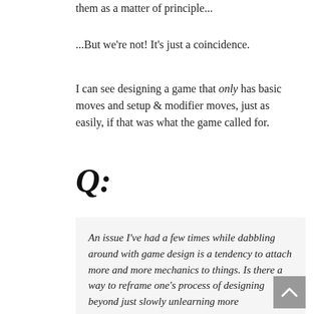them as a matter of principle...
...But we're not! It's just a coincidence.
I can see designing a game that only has basic moves and setup & modifier moves, just as easily, if that was what the game called for.
Q:
An issue I've had a few times while dabbling around with game design is a tendency to attach more and more mechanics to things. Is there a way to reframe one's process of designing beyond just slowly unlearning more simulationist tendencies?
@AscatonicRilby